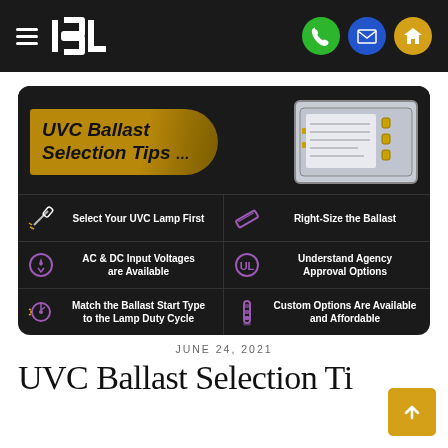ISL (logo) — navigation header with phone, email, home icons
[Figure (infographic): UVC Ballast Selection Tips infographic on dark background with gold brush-stroke title, photo of a UVC ballast unit, and 6 tip cells: Select Your UVC Lamp First, Right-Size the Ballast, AC & DC Input Voltages are Available, Understand Agency Approval Options, Match the Ballast Start Type to the Lamp Duty Cycle, Custom Options Are Available and Affordable]
JUNE 24, 2021
UVC Ballast Selection Ti